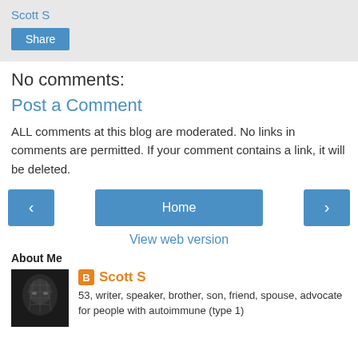Scott S
Share
No comments:
Post a Comment
ALL comments at this blog are moderated. No links in comments are permitted. If your comment contains a link, it will be deleted.
< Home >
View web version
About Me
[Figure (photo): Black and white photo of a person's face/head]
Scott S
53, writer, speaker, brother, son, friend, spouse, advocate for people with autoimmune (type 1)